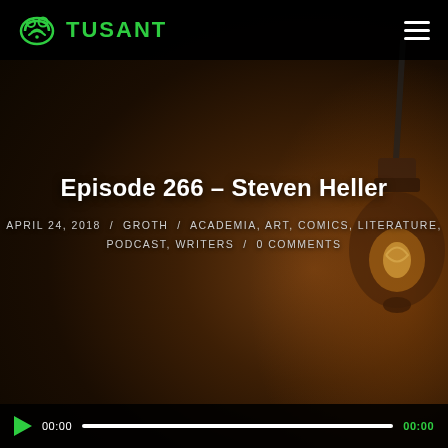TUSANT
Episode 266 – Steven Heller
APRIL 24, 2018 / GROTH / ACADEMIA, ART, COMICS, LITERATURE, PODCAST, WRITERS / 0 COMMENTS
[Figure (screenshot): Audio player bar with play button showing 00:00 start time and 00:00 end time on a dark background]
[Figure (photo): Dark background with a glowing vintage Edison light bulb hanging from the right side, warm amber glow against very dark brown-black background]